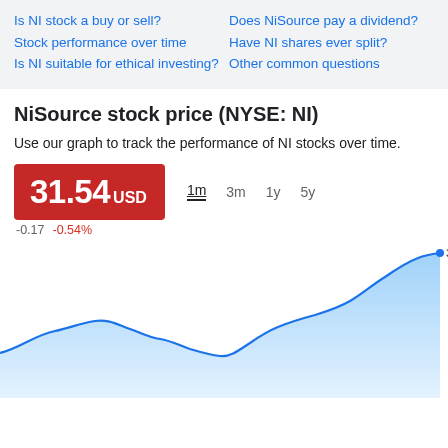Is NI stock a buy or sell?
Stock performance over time
Is NI suitable for ethical investing?
Does NiSource pay a dividend?
Have NI shares ever split?
Other common questions
NiSource stock price (NYSE: NI)
Use our graph to track the performance of NI stocks over time.
31.54 USD
-0.17  -0.54%
[Figure (area-chart): Area chart showing NiSource (NI) stock price over 1 month, ending at 31.54. The line rises from the lower left, with some fluctuation in the middle, climbing steeply toward the right end. Label '31:54' shown at the top right.]